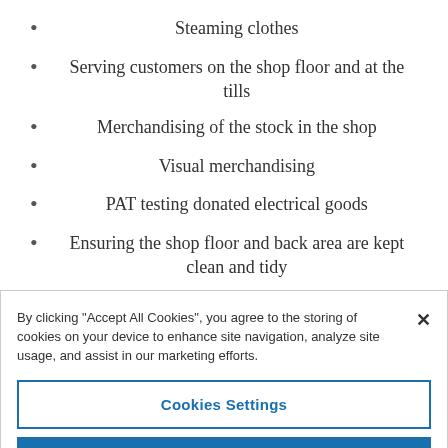Steaming clothes
Serving customers on the shop floor and at the tills
Merchandising of the stock in the shop
Visual merchandising
PAT testing donated electrical goods
Ensuring the shop floor and back area are kept clean and tidy
Promoting the work of Pilgrims Hospices within the
By clicking “Accept All Cookies”, you agree to the storing of cookies on your device to enhance site navigation, analyze site usage, and assist in our marketing efforts.
Cookies Settings
Reject All